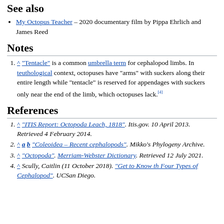See also
My Octopus Teacher – 2020 documentary film by Pippa Ehrlich and James Reed
Notes
^ "Tentacle" is a common umbrella term for cephalopod limbs. In teuthological context, octopuses have "arms" with suckers along their entire length while "tentacle" is reserved for appendages with suckers only near the end of the limb, which octopuses lack.[4]
References
^ "ITIS Report: Octopoda Leach, 1818". Itis.gov. 10 April 2013. Retrieved 4 February 2014.
^ a b "Coleoidea – Recent cephalopods". Mikko's Phylogeny Archive.
^ "Octopoda". Merriam-Webster Dictionary. Retrieved 12 July 2021.
^ Scully, Caitlin (11 October 2018). "Get to Know th Four Types of Cephalopod". UCSan Diego.